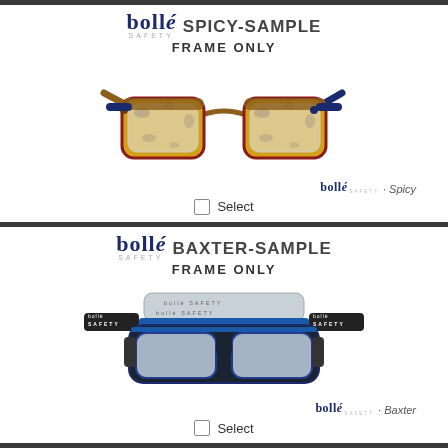[Figure (logo): Bollé Safety logo with SPICY-SAMPLE product name header]
bollé SAFETY SPICY-SAMPLE
FRAME ONLY
[Figure (photo): Bollé Spicy safety glasses frame with tortoiseshell pattern, front view]
bollé SAFETY · Spicy
Select
[Figure (logo): Bollé Safety logo with BAXTER-SAMPLE product name header]
bollé SAFETY BAXTER-SAMPLE
FRAME ONLY
[Figure (photo): Bollé Baxter safety goggles with blue and black frame and strap, front view]
bollé SAFETY · Baxter
Select